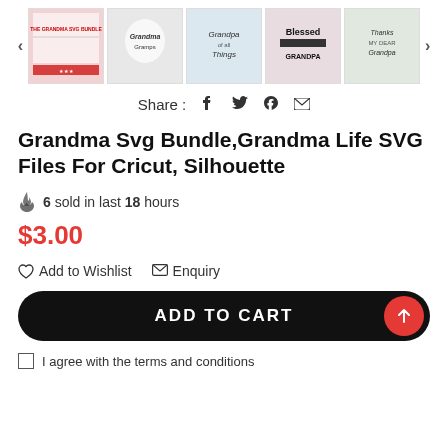[Figure (screenshot): Row of 5 product thumbnail images with left/right navigation arrows. Thumbnails show SVG design files for grandma/grandpa themed products.]
Share : f ✓ ℗ ✉
Grandma Svg Bundle,Grandma Life SVG Files For Cricut, Silhouette
🔥 6 sold in last 18 hours
$3.00
♡ Add to Wishlist   ✉ Enquiry
ADD TO CART
I agree with the terms and conditions